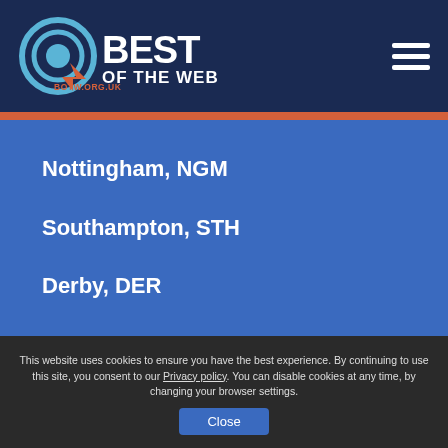[Figure (logo): Best of the Web logo with circular target icon and text 'BEST OF THE WEB' and 'BOTW.ORG.UK' on dark navy background]
Nottingham, NGM
Southampton, STH
Derby, DER
This website uses cookies to ensure you have the best experience. By continuing to use this site, you consent to our Privacy policy. You can disable cookies at any time, by changing your browser settings.